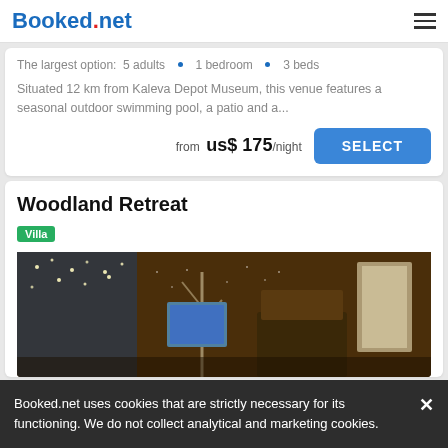Booked.net
The largest option:  5 adults  •  1 bedroom  •  3 beds
Situated 12 km from Kaleva Depot Museum, this venue features a seasonal outdoor swimming pool, a patio and a...
from  us$ 175/night
Woodland Retreat
Villa
[Figure (photo): Interior photo of Woodland Retreat villa showing a cozy bedroom with warm amber lighting, decorative tree murals on the wall, string lights, curtains, and a glowing lamp.]
Booked.net uses cookies that are strictly necessary for its functioning. We do not collect analytical and marketing cookies.